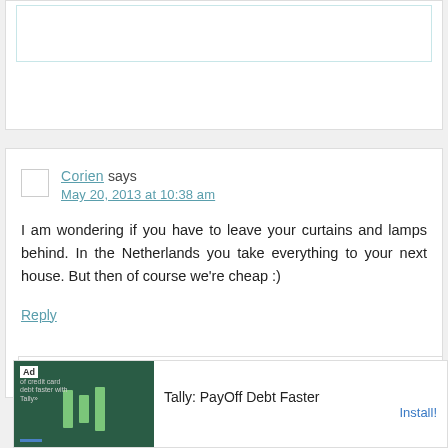[Partial top comment box - cut off at top of page]
Corien says
May 20, 2013 at 10:38 am
I am wondering if you have to leave your curtains and lamps behind. In the Netherlands you take everything to your next house. But then of course we're cheap :)
Reply
YoungHouseLove says
[Figure (infographic): Ad banner: Tally PayOff Debt Faster with Install button]